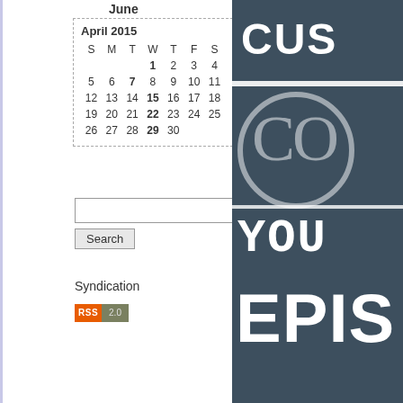June
| S | M | T | W | T | F | S |
| --- | --- | --- | --- | --- | --- | --- |
|  |  |  | 1 | 2 | 3 | 4 |
| 5 | 6 | 7 | 8 | 9 | 10 | 11 |
| 12 | 13 | 14 | 15 | 16 | 17 | 18 |
| 19 | 20 | 21 | 22 | 23 | 24 | 25 |
| 26 | 27 | 28 | 29 | 30 |  |  |
Search
Syndication
[Figure (other): RSS 2.0 badge with orange RSS label and gray 2.0 text]
[Figure (other): Dark blue-gray panel with large white text fragments: CUS, CO (circle), YOU, EPIS]